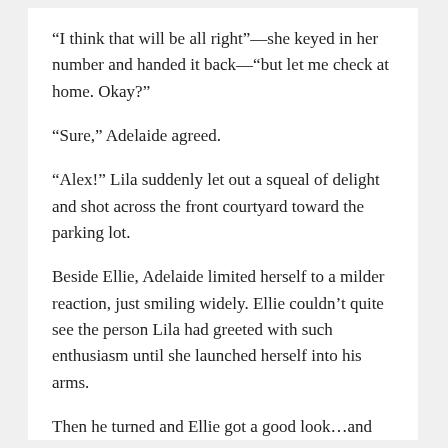“I think that will be all right”—she keyed in her number and handed it back—“but let me check at home. Okay?”
“Sure,” Adelaide agreed.
“Alex!” Lila suddenly let out a squeal of delight and shot across the front courtyard toward the parking lot.
Beside Ellie, Adelaide limited herself to a milder reaction, just smiling widely. Ellie couldn’t quite see the person Lila had greeted with such enthusiasm until she launched herself into his arms.
Then he turned and Ellie got a good look…and her world tilted at a slightly cockeyed angle. One moment she was walking along, trying to think of an excuse to miss out on studying, and the next, she could hardly breathe. Dizziness threatened to sweep her away or knock her over.
She’d never experienced something like that before. Maybe...